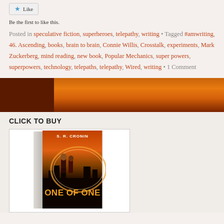[Figure (other): Like button with star icon]
Be the first to like this.
Posted in speculative fiction, superheroes, telepathy, writing • Tagged #amwriting, 46. Ascending, books, brain to brain, Connie Willis, Crosstalk, experiments, Mark Zuckerberg, mind reading, new book, Popular Mechanics, super powers, superpowers, technology, telepaths, telepathy, Wired, writing • 1 Comment
[Figure (photo): Banner image with orange/brown gradient background, appears to be a landscape horizon]
CLICK TO BUY
[Figure (photo): Book cover for 'One of One' by S. R. Cronin showing two figures against an orange/red sci-fi background with light trails]